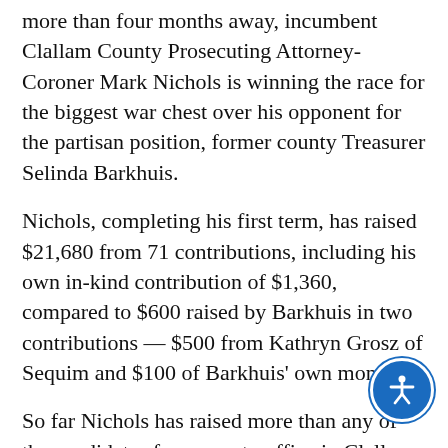more than four months away, incumbent Clallam County Prosecuting Attorney-Coroner Mark Nichols is winning the race for the biggest war chest over his opponent for the partisan position, former county Treasurer Selinda Barkhuis.
Nichols, completing his first term, has raised $21,680 from 71 contributions, including his own in-kind contribution of $1,360, compared to $600 raised by Barkhuis in two contributions — $500 from Kathryn Grosz of Sequim and $100 of Barkhuis' own money.
So far Nichols has raised more than any of the candidates for a county office in Clallam and Jefferson counties who filed for the Nov. 6 general election.
All partisan-election candidates will appear on the Aug. 7 primary ballot, which will be mailed to vo[ters] July [2]